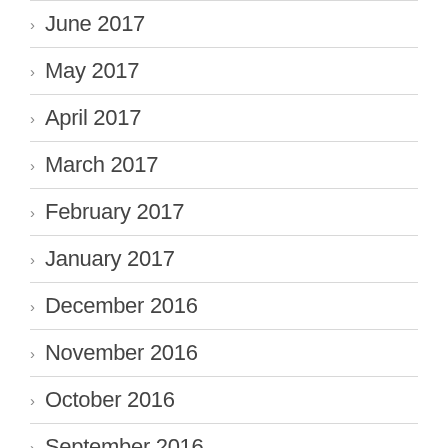> June 2017
> May 2017
> April 2017
> March 2017
> February 2017
> January 2017
> December 2016
> November 2016
> October 2016
> September 2016